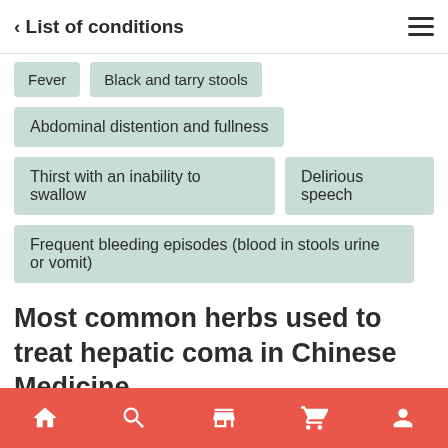< List of conditions
Fever
Black and tarry stools
Abdominal distention and fullness
Thirst with an inability to swallow
Delirious speech
Frequent bleeding episodes (blood in stools urine or vomit)
Most common herbs used to treat hepatic coma in Chinese Medicine
[Figure (photo): Circular photo of dried Chinese medicinal herbs in a bowl]
Home | Search | Shop | Cart | Profile